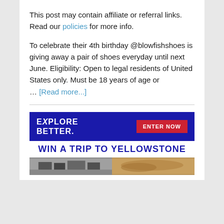This post may contain affiliate or referral links. Read our policies for more info.
To celebrate their 4th birthday @blowfishshoes is giving away a pair of shoes everyday until next June. Eligibility: Open to legal residents of United States only. Must be 18 years of age or … [Read more...]
[Figure (infographic): Advertisement banner: Blue background with 'EXPLORE BETTER.' text on left, red 'ENTER NOW' button on right. White bar below reading 'WIN A TRIP TO YELLOWSTONE'. Photo strip at bottom showing scenic/wildlife images.]